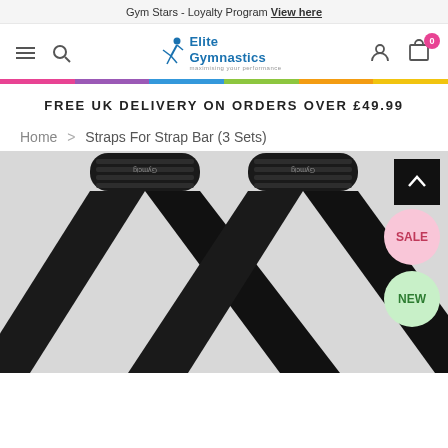Gym Stars - Loyalty Program View here
[Figure (logo): Elite Gymnastics logo with gymnast figure and tagline 'maximising your performance']
FREE UK DELIVERY ON ORDERS OVER £49.99
Home > Straps For Strap Bar (3 Sets)
[Figure (photo): Two black gymnastics straps for strap bar, crossed over each other, with padded grip section at top. Labeled with brand logo. SALE and NEW badges visible on right side.]